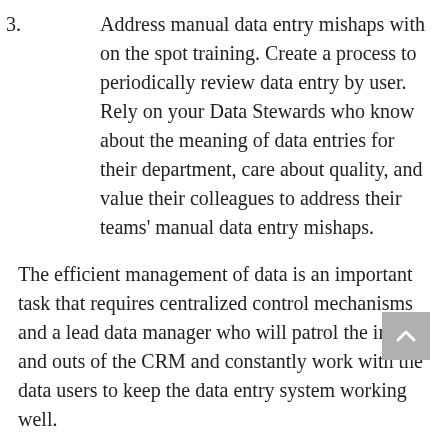3. Address manual data entry mishaps with on the spot training. Create a process to periodically review data entry by user. Rely on your Data Stewards who know about the meaning of data entries for their department, care about quality, and value their colleagues to address their teams' manual data entry mishaps.
The efficient management of data is an important task that requires centralized control mechanisms and a lead data manager who will patrol the ins and outs of the CRM and constantly work with the data users to keep the data entry system working well.
Tip 13: Create and implement a series of data queries that identify where data needs to be cleaned or identifies where more training might be needed.